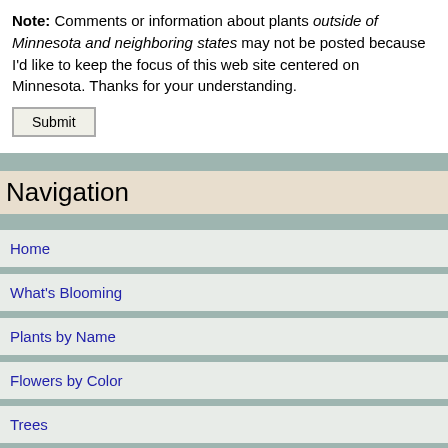Note: Comments or information about plants outside of Minnesota and neighboring states may not be posted because I'd like to keep the focus of this web site centered on Minnesota. Thanks for your understanding.
Submit
Navigation
Home
What's Blooming
Plants by Name
Flowers by Color
Trees
Shrubs